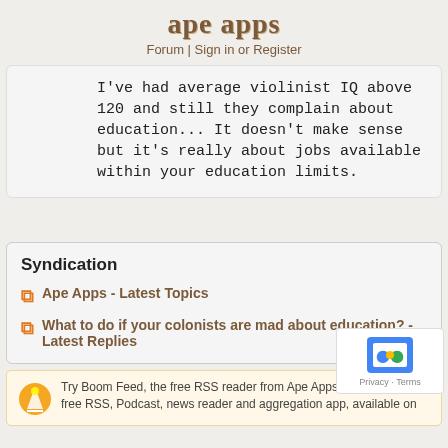ape apps
Forum | Sign in or Register
I've had average violinist IQ above 120 and still they complain about education... It doesn't make sense but it's really about jobs available within your education limits.
Syndication
Ape Apps - Latest Topics
What to do if your colonists are mad about education? - Latest Replies
Try Boom Feed, the free RSS reader from Ape Apps! Boom Feed is a free RSS, Podcast, news reader and aggregation app, available on